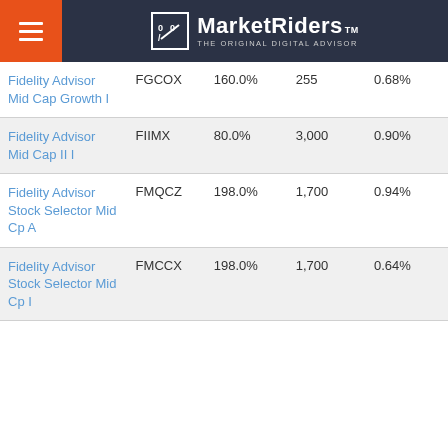MarketRiders — THE ORIGINAL DIGITAL ADVISOR
| Fund Name | Ticker | Return | Min Invest | Expense |
| --- | --- | --- | --- | --- |
| Fidelity Advisor Mid Cap Growth I | FGCOX | 160.0% | 255 | 0.68% |
| Fidelity Advisor Mid Cap II I | FIIMX | 80.0% | 3,000 | 0.90% |
| Fidelity Advisor Stock Selector Mid Cp A | FMQCZ | 198.0% | 1,700 | 0.94% |
| Fidelity Advisor Stock Selector Mid Cp I | FMCCX | 198.0% | 1,700 | 0.64% |